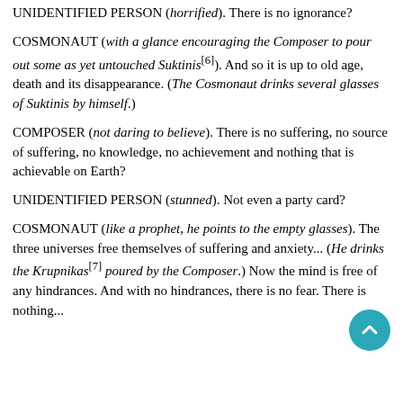UNIDENTIFIED PERSON (horrified). There is no ignorance?
COSMONAUT (with a glance encouraging the Composer to pour out some as yet untouched Suktinis[6]). And so it is up to old age, death and its disappearance. (The Cosmonaut drinks several glasses of Suktinis by himself.)
COMPOSER (not daring to believe). There is no suffering, no source of suffering, no knowledge, no achievement and nothing that is achievable on Earth?
UNIDENTIFIED PERSON (stunned). Not even a party card?
COSMONAUT (like a prophet, he points to the empty glasses). The three universes free themselves of suffering and anxiety... (He drinks the Krupnikas[7] poured by the Composer.) Now the mind is free of any hindrances. And with no hindrances, there is no fear. There is nothing...